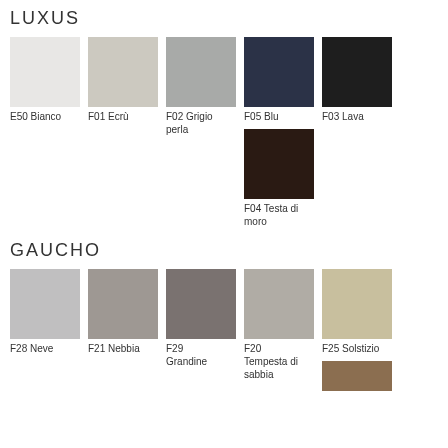LUXUS
[Figure (illustration): Fabric color swatches for LUXUS collection: E50 Bianco (light grey/white), F01 Ecrù (warm grey), F02 Grigio perla (medium grey), F05 Blu (dark navy), F03 Lava (near black), F04 Testa di moro (dark brown)]
GAUCHO
[Figure (illustration): Fabric color swatches for GAUCHO collection: F28 Neve (light grey), F21 Nebbia (medium grey), F29 Grandine (darker grey), F20 Tempesta di sabbia (warm grey), F25 Solstizio (beige), plus partial brown swatch]